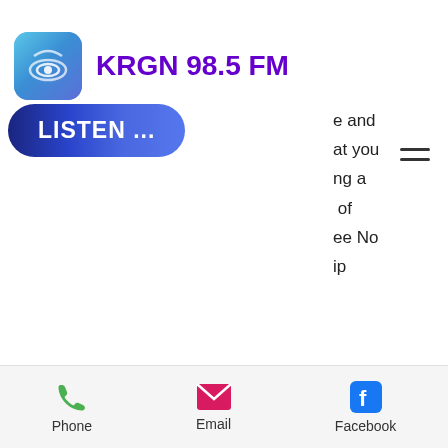[Figure (logo): KRGN 98.5 FM radio station logo icon - rounded square with blue/purple gradient and white symbol]
KRGN 98.5 FM
[Figure (illustration): LISTEN... button - dark blue pill-shaped button with white bold text]
e and at you ng a of ee No ip es oot City casino offer to its players? Jackpot City casino is a renowned casino brand and knows how to keep its players happy. Thus, it provides an array of bonuses like Sign up bonus, F, big casinos.
Phone  Email  Facebook